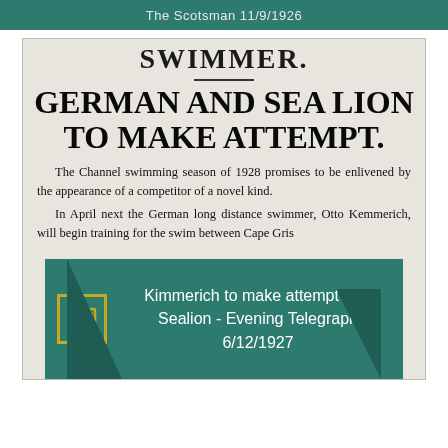The Scotsman 11/9/1926
[Figure (photo): Scanned newspaper clipping showing headline 'SWIMMER.' followed by 'GERMAN AND SEA LION TO MAKE ATTEMPT.' with article text about the Channel swimming season of 1928 and Otto Kemmerich.]
Kimmerich to make attempt with Sealion - Evening Telegraph 6/12/1927